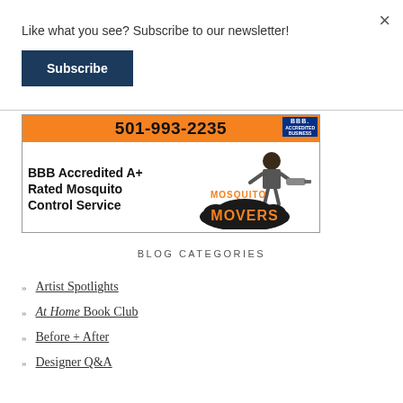Like what you see? Subscribe to our newsletter!
Subscribe
[Figure (other): Mosquito Movers advertisement: orange bar with phone number 501-993-2235 and BBB badge, text 'BBB Accredited A+ Rated Mosquito Control Service', Mosquito Movers logo with cartoon character]
BLOG CATEGORIES
Artist Spotlights
At Home Book Club
Before + After
Designer Q&A